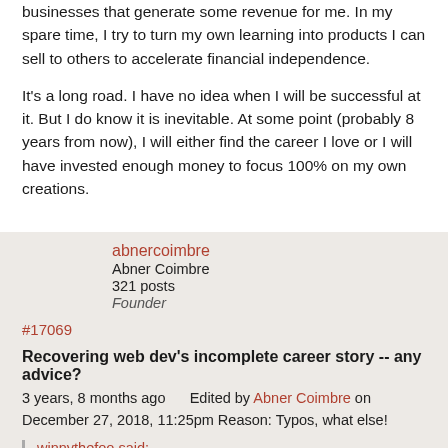businesses that generate some revenue for me. In my spare time, I try to turn my own learning into products I can sell to others to accelerate financial independence.
It's a long road. I have no idea when I will be successful at it. But I do know it is inevitable. At some point (probably 8 years from now), I will either find the career I love or I will have invested enough money to focus 100% on my own creations.
abnercoimbre
Abner Coimbre
321 posts
Founder
#17069
Recovering web dev's incomplete career story -- any advice?
3 years, 8 months ago     Edited by Abner Coimbre on December 27, 2018, 11:25pm Reason: Typos, what else!
winnythefoo said: